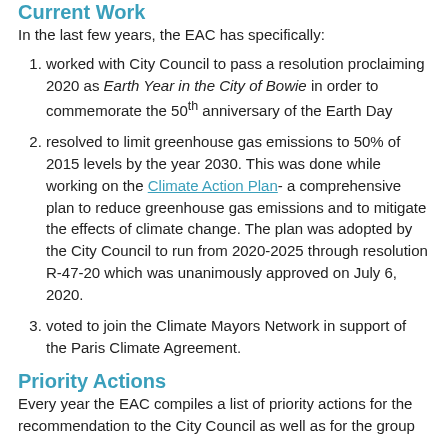Current Work
In the last few years, the EAC has specifically:
worked with City Council to pass a resolution proclaiming 2020 as Earth Year in the City of Bowie in order to commemorate the 50th anniversary of the Earth Day
resolved to limit greenhouse gas emissions to 50% of 2015 levels by the year 2030. This was done while working on the Climate Action Plan- a comprehensive plan to reduce greenhouse gas emissions and to mitigate the effects of climate change. The plan was adopted by the City Council to run from 2020-2025 through resolution R-47-20 which was unanimously approved on July 6, 2020.
voted to join the Climate Mayors Network in support of the Paris Climate Agreement.
Priority Actions
Every year the EAC compiles a list of priority actions for the recommendation to the City Council as well as for the group